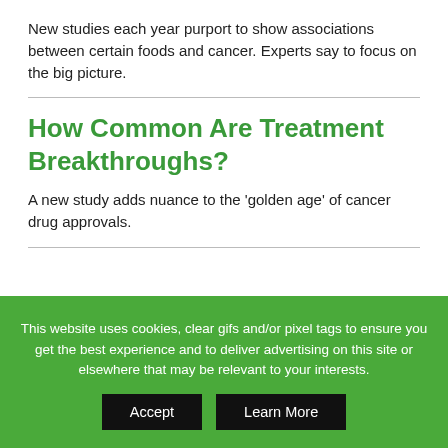New studies each year purport to show associations between certain foods and cancer. Experts say to focus on the big picture.
How Common Are Treatment Breakthroughs?
A new study adds nuance to the ‘golden age’ of cancer drug approvals.
cancer talk
This website uses cookies, clear gifs and/or pixel tags to ensure you get the best experience and to deliver advertising on this site or elsewhere that may be relevant to your interests.